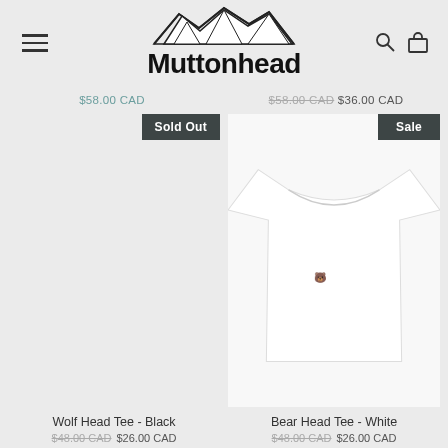[Figure (logo): Muttonhead brand logo with mountain range illustration above bold text reading Muttonhead]
$58.00 CAD
$58.00 CAD $36.00 CAD
[Figure (photo): White product card with Sold Out badge, no visible product image (blank/white)]
[Figure (photo): White t-shirt product photo on light background, with Sale badge in corner]
Wolf Head Tee - Black
$48.00 CAD $26.00 CAD
Bear Head Tee - White
$48.00 CAD $26.00 CAD